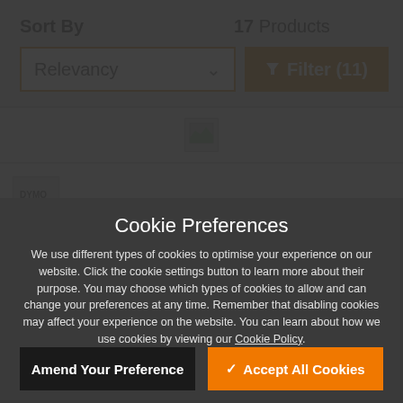Sort By
17 Products
Relevancy
Filter (11)
Cookie Preferences
We use different types of cookies to optimise your experience on our website. Click the cookie settings button to learn more about their purpose. You may choose which types of cookies to allow and can change your preferences at any time. Remember that disabling cookies may affect your experience on the website. You can learn about how we use cookies by viewing our Cookie Policy.
Amend Your Preference
Accept All Cookies